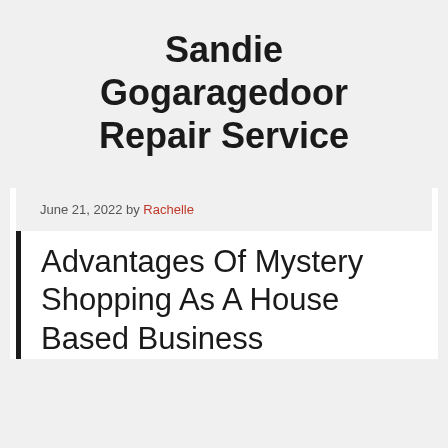Sandie Gogaragedoor Repair Service
June 21, 2022 by Rachelle
Advantages Of Mystery Shopping As A House Based Business